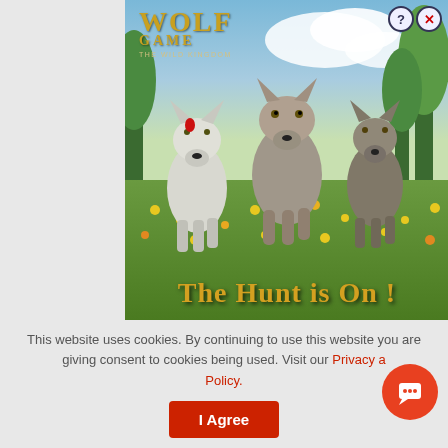[Figure (illustration): Wolf Game: The Wild Kingdom advertisement banner showing three wolves running through a field of yellow flowers with text 'THE HUNT IS ON!' overlaid. Logo with wolf game branding in top left. Close/help buttons in top right.]
This website uses cookies. By continuing to use this website you are giving consent to cookies being used. Visit our Privacy and Cookie Policy.
I Agree